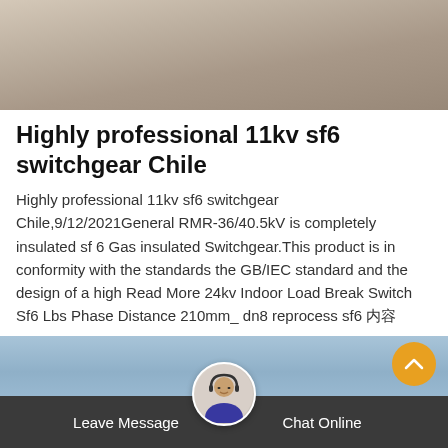[Figure (photo): Top portion of a product/engineering photo, showing beige/tan surface textures, partially cropped]
Highly professional 11kv sf6 switchgear Chile
Highly professional 11kv sf6 switchgear Chile,9/12/2021General RMR-36/40.5kV is completely insulated sf 6 Gas insulated Switchgear.This product is in conformity with the standards the GB/IEC standard and the design of a high Read More 24kv Indoor Load Break Switch Sf6 Lbs Phase Distance 210mm_ dn8 reprocess sf6 内容
[Figure (other): Orange Get Price button]
[Figure (photo): Bottom partial image showing outdoor industrial/electrical installation with blue sky]
[Figure (other): Female avatar with headset customer service icon in circular frame]
Leave Message
Chat Online